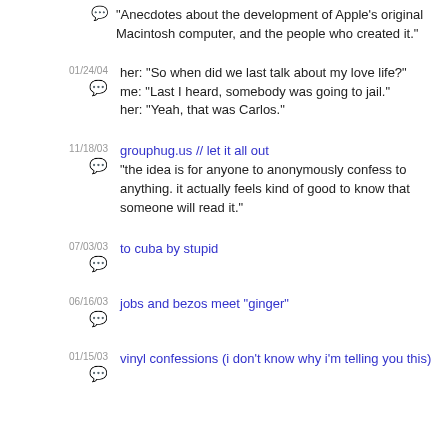"Anecdotes about the development of Apple's original Macintosh computer, and the people who created it."
01/24/04 | her: "So when did we last talk about my love life?" me: "Last I heard, somebody was going to jail." her: "Yeah, that was Carlos."
11/18/03 | grouphug.us // let it all out — "the idea is for anyone to anonymously confess to anything. it actually feels kind of good to know that someone will read it."
07/03/03 | to cuba by stupid
06/16/03 | jobs and bezos meet "ginger"
01/15/03 | vinyl confessions (i don't know why i'm telling you this)